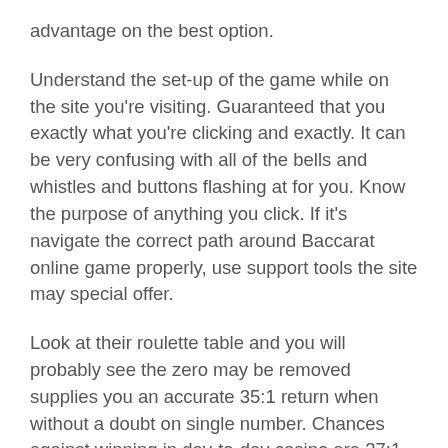advantage on the best option.
Understand the set-up of the game while on the site you're visiting. Guaranteed that you exactly what you're clicking and exactly. It can be very confusing with all of the bells and whistles and buttons flashing at for you. Know the purpose of anything you click. If it's navigate the correct path around Baccarat online game properly, use support tools the site may special offer.
Look at their roulette table and you will probably see the zero may be removed supplies you an accurate 35:1 return when without a doubt on single number. Chances against winning in day-to-day casino are 37:1.